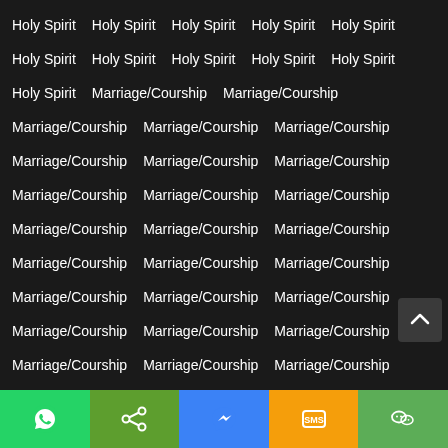Holy Spirit Holy Spirit Holy Spirit Holy Spirit Holy Spirit Holy Spirit Holy Spirit Holy Spirit Holy Spirit Holy Spirit Holy Spirit Marriage/Courship Marriage/Courship Marriage/Courship Marriage/Courship Marriage/Courship Marriage/Courship Marriage/Courship Marriage/Courship Marriage/Courship Marriage/Courship Marriage/Courship Marriage/Courship Marriage/Courship Marriage/Courship Marriage/Courship Marriage/Courship Marriage/Courship Marriage/Courship Marriage/Courship Marriage/Courship Marriage/Courship Marriage/Courship Marriage/Courship Marriage/Courship Marriage/Courship Marriage/Courship Marriage/Courship Money Money Money Money Money Money Money Money Money Money Money Money Money Money
[Figure (screenshot): App bottom navigation bar with WhatsApp, share, Messenger, SMS, and WeChat icons on colored backgrounds]